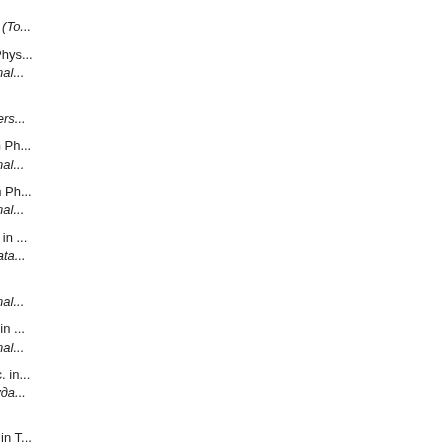301. Sinikov O.I., Tomsk State University (T...
302. Skopin I.N., Ph.D. in Phys... Institute of Computational...
303. Smirnov D.D., Novosibirsk State Univers...
304. Snytnikov A., Ph.D. in Ph... Institute of Computational...
305. Snytnikov N., Ph.D. in Ph... Institute of Computational...
306. Snytnikov V.N., Ph.D. in ... Boreskov Institute of Cata...
307. Snytnikova T.V., Institute of Computational...
308. Soboleva O.N., D.Sc. in ... Institute of Computational...
309. Sokolinsky L.B., D.Sc. in... Южно-Уральский госуда... Russia
310. Sokolova D.O., Ph.D. in T... Novosibirsk State Technic...
311. Sokolova O., Ph.D. in Tec... Institute of Computational...
312. Solov'ev S.I., D.Sc. in Ph... КФУ (Kazan), Russia
313. Solovyev S.A., Ph.D....